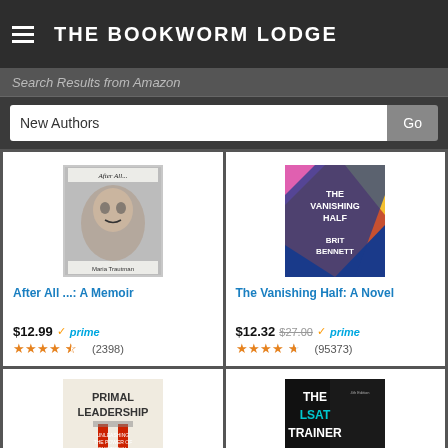THE BOOKWORM LODGE
Search Results from Amazon
New Authors
[Figure (screenshot): Book cover: After All... A Memoir by Maria Trautman — black and white photo of a child's face]
After All ...: A Memoir
$12.99 ✓prime (2398 reviews, 3.5 stars)
[Figure (screenshot): Book cover: The Vanishing Half: A Novel by Brit Bennett — colorful abstract design in blue, pink, orange]
The Vanishing Half: A Novel
$12.32 $27.00 ✓prime (95373 reviews, 4.5 stars)
[Figure (screenshot): Book cover: Primal Leadership — white background with red book/tube shapes]
[Figure (screenshot): Book cover: The LSAT Trainer — dark/black background with teal and white text]